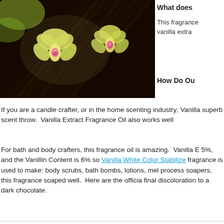[Figure (photo): Photo of vanilla beans (dark brown pods) bundled together with yellow-green orchid flowers with pink centers, on a dark background.]
What does
This fragrance vanilla extra
How Do Ou
If you are a candle crafter, or in the home scenting industry; Vanilla superb scent throw.  Vanilla Extract Fragrance Oil also works well
For bath and body crafters, this fragrance oil is amazing.  Vanilla E 5%, and the Vanillin Content is 6% so Vanilla White Color Stabilize fragrance is used to make: body scrubs, bath bombs, lotions, mel process soapers, this fragrance soaped well.  Here are the officia final discoloration to a dark chocolate.